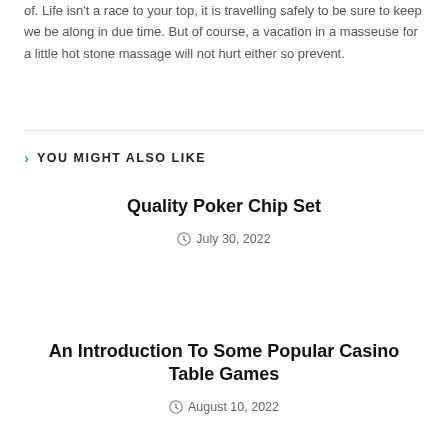of. Life isn't a race to your top, it is travelling safely to be sure to keep we be along in due time. But of course, a vacation in a masseuse for a little hot stone massage will not hurt either so prevent.
YOU MIGHT ALSO LIKE
Quality Poker Chip Set
July 30, 2022
An Introduction To Some Popular Casino Table Games
August 10, 2022